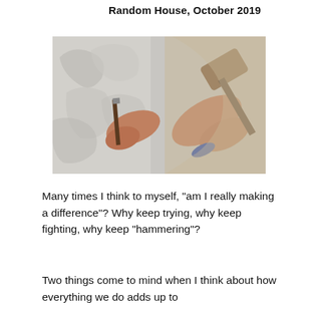Random House, October 2019
[Figure (photo): Close-up of hands using a chisel and mallet to carve stone sculpture.]
Many times I think to myself, "am I really making a difference"? Why keep trying, why keep fighting, why keep "hammering"?
Two things come to mind when I think about how everything we do adds up to